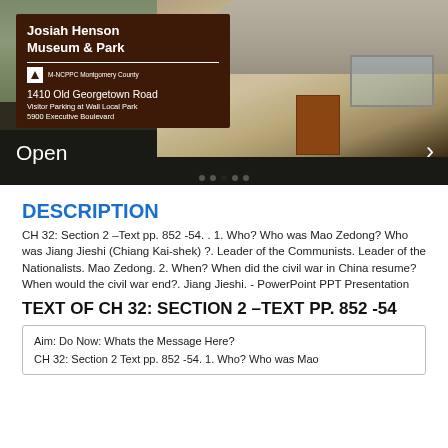[Figure (photo): Photo of Josiah Henson Museum & Park building exterior with sign showing address 1410 Old Georgetown Road, M-NCPPC Montgomery County. Sign on dark brown board, brick building visible in background. 'Open' text and right arrow overlay at bottom.]
DESCRIPTION
CH 32: Section 2 –Text pp. 852 -54. . 1. Who? Who was Mao Zedong? Who was Jiang Jieshi (Chiang Kai-shek) ?. Leader of the Communists. Leader of the Nationalists. Mao Zedong. 2. When? When did the civil war in China resume? When would the civil war end?. Jiang Jieshi. - PowerPoint PPT Presentation
TEXT OF CH 32: SECTION 2 –TEXT PP. 852 -54
| Aim: Do Now: Whats the Message Here? |
| CH 32: Section 2 Text pp. 852 -54. 1. Who? Who was Mao |